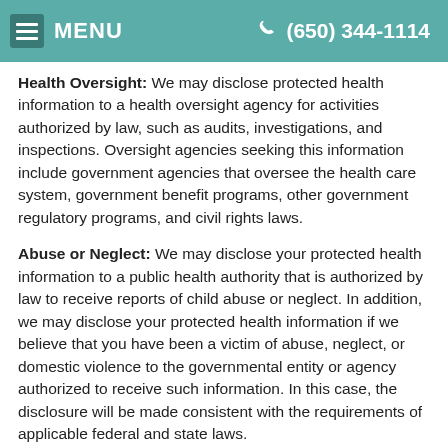MENU  (650) 344-1114
Health Oversight: We may disclose protected health information to a health oversight agency for activities authorized by law, such as audits, investigations, and inspections. Oversight agencies seeking this information include government agencies that oversee the health care system, government benefit programs, other government regulatory programs, and civil rights laws.
Abuse or Neglect: We may disclose your protected health information to a public health authority that is authorized by law to receive reports of child abuse or neglect. In addition, we may disclose your protected health information if we believe that you have been a victim of abuse, neglect, or domestic violence to the governmental entity or agency authorized to receive such information. In this case, the disclosure will be made consistent with the requirements of applicable federal and state laws.
Food and Drug Administration: We may disclose your protected health information to a person or company required by the Food and Drug Administration to report adverse events, product defects or problems, biologic product...